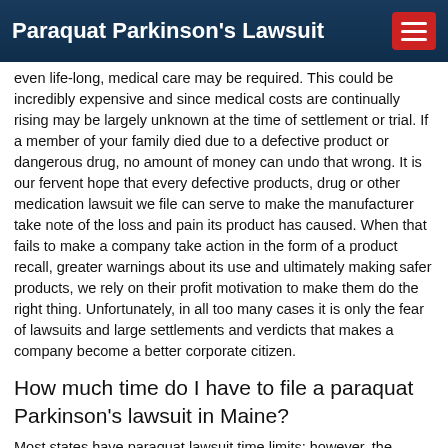Paraquat Parkinson's Lawsuit
even life-long, medical care may be required. This could be incredibly expensive and since medical costs are continually rising may be largely unknown at the time of settlement or trial. If a member of your family died due to a defective product or dangerous drug, no amount of money can undo that wrong. It is our fervent hope that every defective products, drug or other medication lawsuit we file can serve to make the manufacturer take note of the loss and pain its product has caused. When that fails to make a company take action in the form of a product recall, greater warnings about its use and ultimately making safer products, we rely on their profit motivation to make them do the right thing. Unfortunately, in all too many cases it is only the fear of lawsuits and large settlements and verdicts that makes a company become a better corporate citizen.
How much time do I have to file a paraquat Parkinson's lawsuit in Maine?
Most states have paraquat lawsuit time limits; however, the majority of all persons having developed Parkinson's disease after exposure to paraquat in Maine will fall within those time limits if they contact an attorney in the near future. For specific time limits for your Maine paraquat claim, please fill out the form at right, or by...